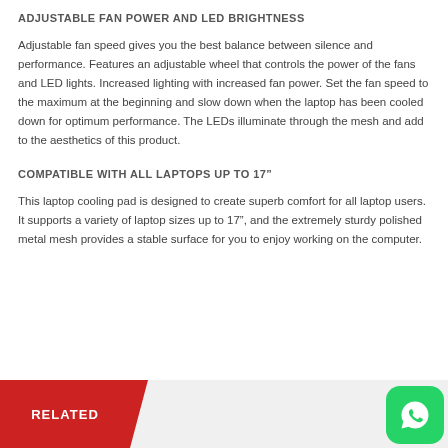ADJUSTABLE FAN POWER AND LED BRIGHTNESS
Adjustable fan speed gives you the best balance between silence and performance. Features an adjustable wheel that controls the power of the fans and LED lights. Increased lighting with increased fan power. Set the fan speed to the maximum at the beginning and slow down when the laptop has been cooled down for optimum performance. The LEDs illuminate through the mesh and add to the aesthetics of this product.
COMPATIBLE WITH ALL LAPTOPS UP TO 17”
This laptop cooling pad is designed to create superb comfort for all laptop users. It supports a variety of laptop sizes up to 17”, and the extremely sturdy polished metal mesh provides a stable surface for you to enjoy working on the computer.
[Figure (other): Red 'RELATED' banner section at the bottom left, with a WhatsApp icon button at the bottom right]